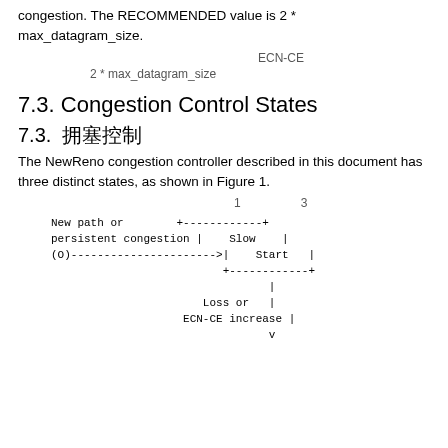congestion. The RECOMMENDED value is 2 * max_datagram_size.
（日本語訳）ECN-CEによる輻輳を示す。推奨値は2 * max_datagram_sizeである。
7.3. Congestion Control States
7.3. 輻輳制御状態
The NewReno congestion controller described in this document has three distinct states, as shown in Figure 1.
（日本語訳）本文書で説明するNewReno輻輳コントローラは図1に示す3つの状態を持つ。
[Figure (flowchart): ASCII diagram showing NewReno congestion control states: New path or persistent congestion leads to Slow Start box, with Loss or ECN-CE increase arrow going down.]